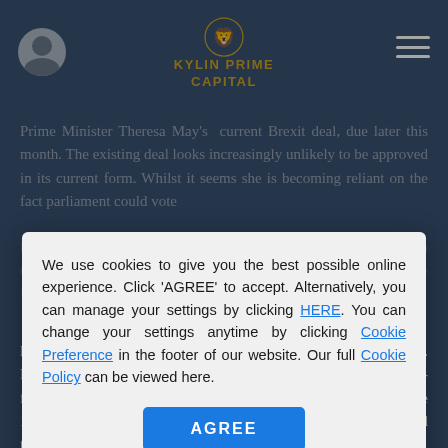KYLIN PRIME CAPITAL
Prime Minister Theresa May's current Brexit deal, due later this month. The existing deal looks increasingly unlikely to be approved in its current form. Whilst it seems she is becoming reliant on the fact parliament could vote
We use cookies to give you the best possible online experience. Click 'AGREE' to accept. Alternatively, you can manage your settings by clicking HERE. You can change your settings anytime by clicking Cookie Preference in the footer of our website. Our full Cookie Policy can be viewed here.
deal, and as the EU's Jean Claude Junker reiterated that concession would not come for the UK a greater weight of expectation on the coming week.
In this first week of 2019 the data calendar is relatively light with many national holidays in the first part of the week. Friday brings the all-important US employment data, with the Non-farm payroll data expected at around 180K now jobs, up from the 155K generated last month. The US unemployment rate is expected to remain